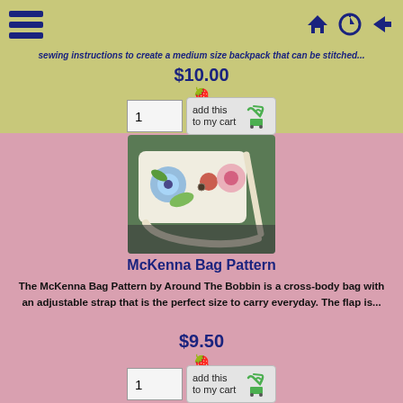Navigation bar with hamburger menu and icons
sewing instructions to create a medium size backpack that can be stitched...
$10.00
[Figure (other): Strawberry emoji icon]
[Figure (other): Quantity input box showing 1 and add this to my cart button with shopping cart icon]
[Figure (photo): Photo of McKenna Bag - a cross-body bag with floral fabric, adjustable strap, on dark surface]
McKenna Bag Pattern
The McKenna Bag Pattern by Around The Bobbin is a cross-body bag with an adjustable strap that is the perfect size to carry everyday. The flap is...
$9.50
[Figure (other): Strawberry emoji icon]
[Figure (other): Quantity input box showing 1 and add this to my cart button with shopping cart icon]